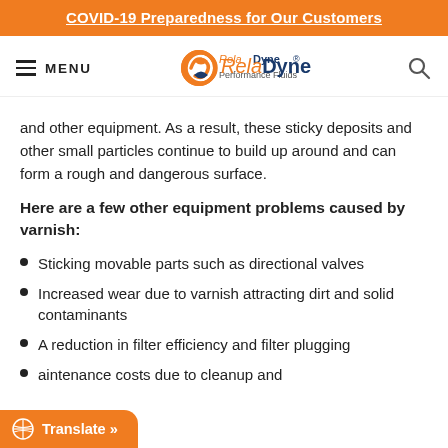COVID-19 Preparedness for Our Customers
[Figure (logo): RelaDyne logo with orange circular icon and blue/orange wordmark, menu button and search icon]
and other equipment. As a result, these sticky deposits and other small particles continue to build up around and can form a rough and dangerous surface.
Here are a few other equipment problems caused by varnish:
Sticking movable parts such as directional valves
Increased wear due to varnish attracting dirt and solid contaminants
A reduction in filter efficiency and filter plugging
aintenance costs due to cleanup and